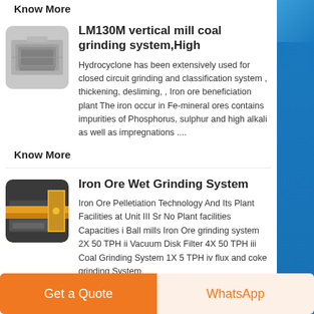Know More
LM130M vertical mill coal grinding system,High
Hydrocyclone has been extensively used for closed circuit grinding and classification system , thickening, desliming, , Iron ore beneficiation plant The iron occur in Fe-mineral ores contains impurities of Phosphorus, sulphur and high alkali as well as impregnations ....
Know More
Iron Ore Wet Grinding System
Iron Ore Pelletiation Technology And Its Plant Facilities at Unit III Sr No Plant facilities Capacities i Ball mills Iron Ore grinding system 2X 50 TPH ii Vacuum Disk Filter 4X 50 TPH iii Coal Grinding System 1X 5 TPH iv flux and coke grinding System
Get a Quote
WhatsApp